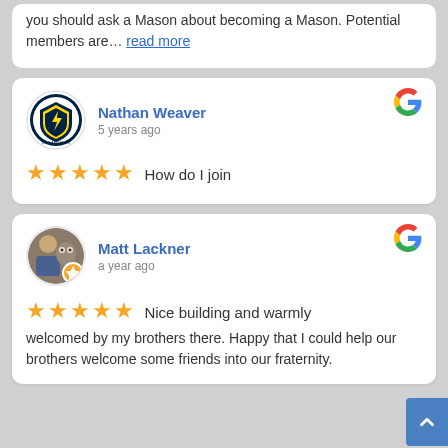you should ask a Mason about becoming a Mason. Potential members are… read more
Nathan Weaver
5 years ago
★★★★★ How do I join
Matt Lackner
a year ago
★★★★★ Nice building and warmly welcomed by my brothers there. Happy that I could help our brothers welcome some friends into our fraternity.